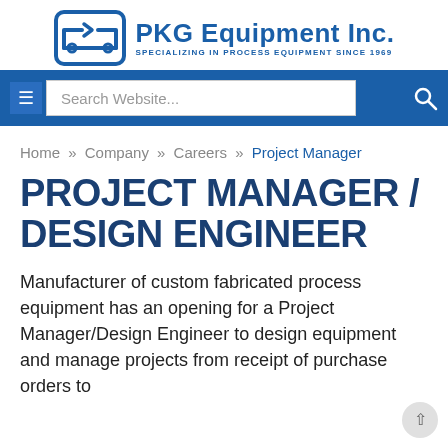[Figure (logo): PKG Equipment Inc. logo with stylized conveyor/process icon and text 'SPECIALIZING IN PROCESS EQUIPMENT SINCE 1969']
Search Website...
Home » Company » Careers » Project Manager
PROJECT MANAGER / DESIGN ENGINEER
Manufacturer of custom fabricated process equipment has an opening for a Project Manager/Design Engineer to design equipment and manage projects from receipt of purchase orders to